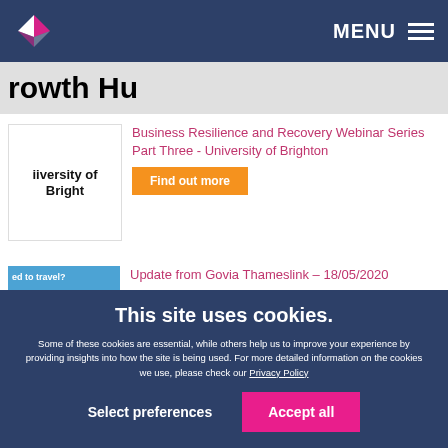MENU
rowth Hu
Business Resilience and Recovery Webinar Series Part Three - University of Brighton
Find out more
Update from Govia Thameslink – 18/05/2020
Find out more
This site uses cookies.
Some of these cookies are essential, while others help us to improve your experience by providing insights into how the site is being used. For more detailed information on the cookies we use, please check our Privacy Policy
Select preferences
Accept all